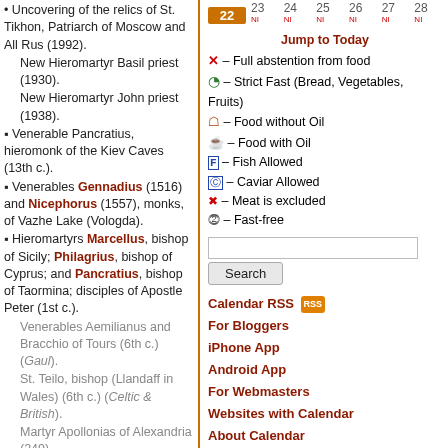Uncovering of the relics of St. Tikhon, Patriarch of Moscow and All Rus (1992).
New Hieromartyr Basil priest (1930).
New Hieromartyr John priest (1938).
Venerable Pancratius, hieromonk of the Kiev Caves (13th c.).
Venerables Gennadius (1516) and Nicephorus (1557), monks, of Vazhe Lake (Vologda).
Hieromartyrs Marcellus, bishop of Sicily; Philagrius, bishop of Cyprus; and Pancratius, bishop of Taormina; disciples of Apostle Peter (1st c.).
Venerables Aemilianus and Bracchio of Tours (6th c.) (Gaul).
St. Teilo, bishop (Llandaff in Wales) (6th c.) (Celtic & British).
Martyr Apollonias of Alexandria (249).
St. Romanus the Wonderworker of Cilicia
22 23 24 25 26 27 28 — calendar day navigation
Jump to Today
✕ – Full abstention from food
S – Strict Fast (Bread, Vegetables, Fruits)
leaf – Food without Oil
oil – Food with Oil
F – Fish Allowed
C – Caviar Allowed
meat – Meat is excluded
7 – Fast-free
Search
Calendar RSS For Bloggers iPhone App Android App For Webmasters Websites with Calendar About Calendar New Calendar Version
| Paschalion |
| --- |
| Feb 08 – Sunday of the Publican and Pharisee |
| Feb 22 – Meatfare Sunday |